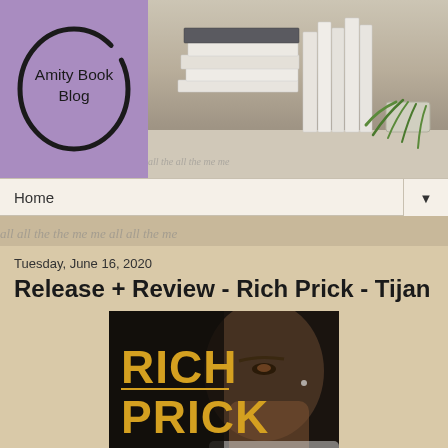[Figure (illustration): Amity Book Blog header banner with purple logo circle on the left showing 'Amity Book Blog' in handwritten font, and a photo of books stacked on a shelf with a plant on the right side.]
Home ▼
[Figure (illustration): Handwriting texture strip background]
Tuesday, June 16, 2020
Release + Review - Rich Prick - Tijan
[Figure (photo): Book cover of 'Rich Prick' showing bold gold text 'RICH PRICK' over a dark moody photo of a young man's face in partial shadow, wearing a white shirt.]